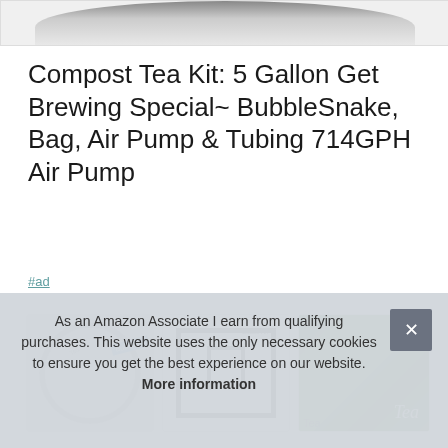[Figure (photo): Top portion of a product image, showing the bottom of a black circular object against a light background]
Compost Tea Kit: 5 Gallon Get Brewing Special~ BubbleSnake, Bag, Air Pump & Tubing 714GPH Air Pump
#ad
[Figure (photo): Three product thumbnail images: a circular BubbleSnake diffuser with a blue tag, a black frame bag with accessories, and green plants growing in soil with a Tea label]
As an Amazon Associate I earn from qualifying purchases. This website uses the only necessary cookies to ensure you get the best experience on our website. More information